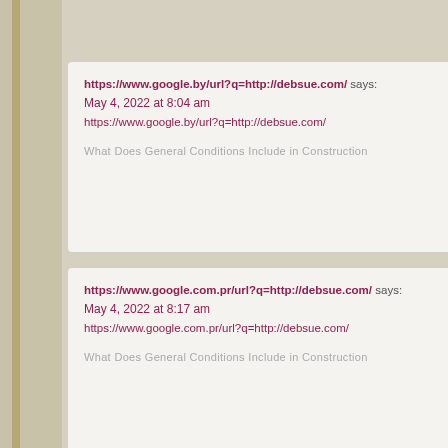https://www.google.by/url?q=http://debsue.com/ says:
May 4, 2022 at 8:04 am
https://www.google.by/url?q=http://debsue.com/

What Does General Conditions Include in Construction
https://www.google.com.pr/url?q=http://debsue.com/ says:
May 4, 2022 at 8:17 am
https://www.google.com.pr/url?q=http://debsue.com/

What Does General Conditions Include in Construction
http://crashingkeeps.blogerus.com/32520060/skyrim-keeps-cras slot-online says:
May 4, 2022 at 9:36 am
http://crashingkeeps.blogerus.com/32520060/skyrim-keeps-cras slot-online

What Does General Conditions Include in Construction